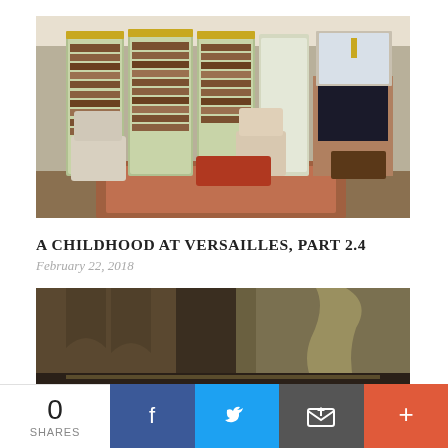[Figure (photo): Interior of an ornate French library room with gilded green bookcases, Louis XV style chairs, a fireplace with mirror, and patterned rugs — Versailles style.]
A CHILDHOOD AT VERSAILLES, PART 2.4
February 22, 2018
[Figure (photo): Partial view of a classical painted mural or fresco showing architectural arches and a draped figure in earth tones.]